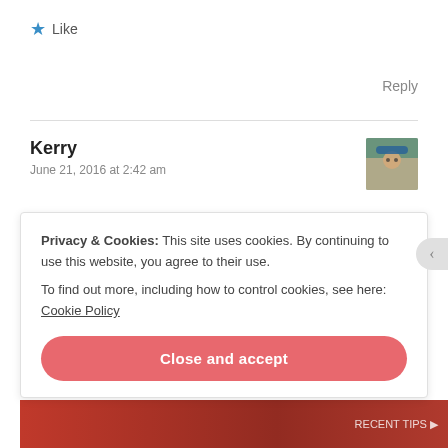★ Like
Reply
Kerry
June 21, 2016 at 2:42 am
[Figure (photo): Small avatar photo of user Kerry, showing a person outdoors wearing a cap]
Yeah. That schedule is what I will be using for the entire thing. Frank and I do too many trips on weekends for me to do my long
Privacy & Cookies: This site uses cookies. By continuing to use this website, you agree to their use.
To find out more, including how to control cookies, see here: Cookie Policy
Close and accept